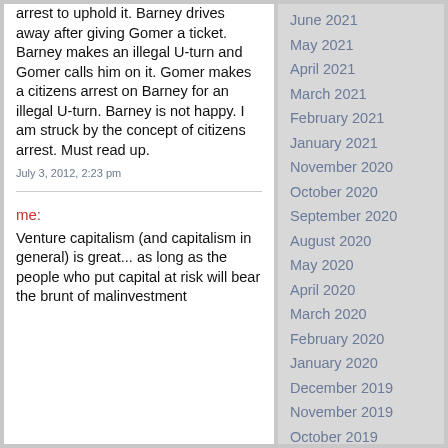arrest to uphold it. Barney drives away after giving Gomer a ticket. Barney makes an illegal U-turn and Gomer calls him on it. Gomer makes a citizens arrest on Barney for an illegal U-turn. Barney is not happy. I am struck by the concept of citizens arrest. Must read up.
July 3, 2012, 2:23 pm
me:
Venture capitalism (and capitalism in general) is great... as long as the people who put capital at risk will bear the brunt of malinvestment
June 2021
May 2021
April 2021
March 2021
February 2021
January 2021
November 2020
October 2020
September 2020
August 2020
May 2020
April 2020
March 2020
February 2020
January 2020
December 2019
November 2019
October 2019
September 2019
August 2019
July 2019